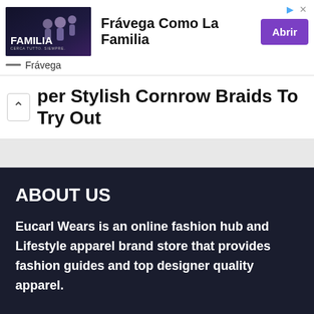[Figure (screenshot): Advertisement banner for Frávega showing group of people playing sports, with text 'Frávega Como La Familia' and purple 'Abrir' button]
per Stylish Cornrow Braids To Try Out
ABOUT US
Eucarl Wears is an online fashion hub and Lifestyle apparel brand store that provides fashion guides and top designer quality apparel.
QUICK LINKS
About Us